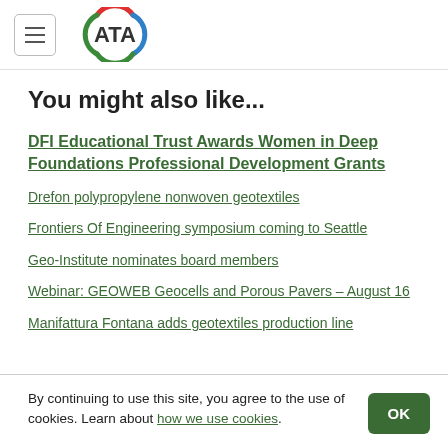ATA (logo with hamburger menu)
You might also like...
DFI Educational Trust Awards Women in Deep Foundations Professional Development Grants
Drefon polypropylene nonwoven geotextiles
Frontiers Of Engineering symposium coming to Seattle
Geo-Institute nominates board members
Webinar: GEOWEB Geocells and Porous Pavers – August 16
Manifattura Fontana adds geotextiles production line
By continuing to use this site, you agree to the use of cookies. Learn about how we use cookies.